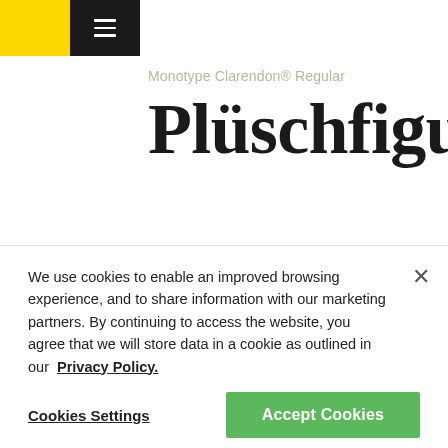[Figure (logo): Yellow and black header bar with hamburger menu icon]
Monotype Clarendon® Regular
Plüschfiguren
[Figure (infographic): Buy button (yellow), heart icon button (grey), and add-to-list icon button (grey)]
[Figure (illustration): Grey semicircle arc shape at bottom of content area]
We use cookies to enable an improved browsing experience, and to share information with our marketing partners. By continuing to access the website, you agree that we will store data in a cookie as outlined in our Privacy Policy.
Cookies Settings
Accept Cookies